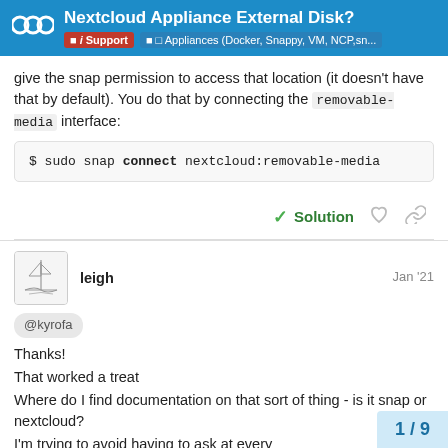Nextcloud Appliance External Disk? | Support | Appliances (Docker, Snappy, VM, NCP,sn...
give the snap permission to access that location (it doesn't have that by default). You do that by connecting the removable-media interface:
✓ Solution
leigh  Jan '21
@kyrofa
Thanks!
That worked a treat
Where do I find documentation on that sort of thing - is it snap or nextcloud?
I'm trying to avoid having to ask at every
Cheers again
1 / 9